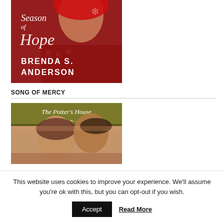[Figure (illustration): Book cover for 'Season of Hope' by Brenda S. Anderson. Red background with a woman in a holiday sweater, decorative snowflake text styling.]
SONG OF MERCY
[Figure (illustration): Book cover for 'The Potter's House' - Song of Mercy. Olive/green header with decorative script text and ornamental divider, featuring a romantic couple image below.]
This website uses cookies to improve your experience. We'll assume you're ok with this, but you can opt-out if you wish.
Accept
Read More